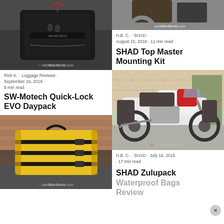[Figure (photo): Black motorcycle tank bag on a bike, with SW-Motech branding and webBikeWorld.com watermark]
Rick K. · Luggage Reviews ·
September 16, 2016 ·
9 min read
SW-Motech Quick-Lock EVO Daypack
[Figure (photo): Yellow waterproof roll bag on motorcycle rear seat, outdoor setting, webBikeWorld.com watermark]
SHAD Zulupack Waterproof Bags Review
[Figure (photo): Top portion of motorcycle luggage photo with webBikeWorld.com watermark]
H.B. C. · SHAD ·
August 15, 2016 · 11 min read
SHAD Top Master Mounting Kit
[Figure (photo): BMW R1200GS motorcycle with full luggage setup, fence and trees in background, webBikeWorld.com watermark]
H.B. C. · SHAD · July 16, 2015
· 17 min read
SHAD Zulupack Waterproof Bags Review